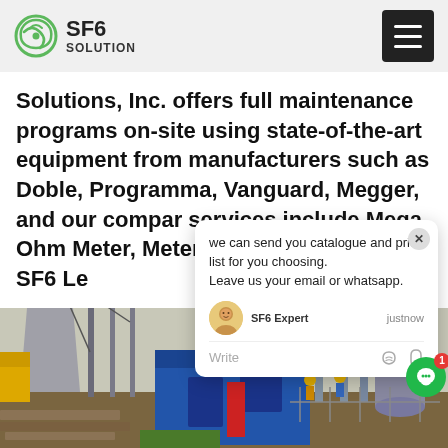SF6 SOLUTION
Solutions, Inc. offers full maintenance programs on-site using state-of-the-art equipment from manufacturers such as Doble, Programma, Vanguard, Megger, and our company services include Mega Ohm Meter, Meter, SF6 Reclaiming Cart, SF6 Le
[Figure (photo): Industrial construction site with electrical substation equipment, cranes, blue portable building, and workers in hard hats]
[Figure (screenshot): Chat popup overlay: 'we can send you catalogue and price list for you choosing. Leave us your email or whatsapp.' With SF6 Expert avatar, justnow timestamp, Write input area with like and attachment icons]